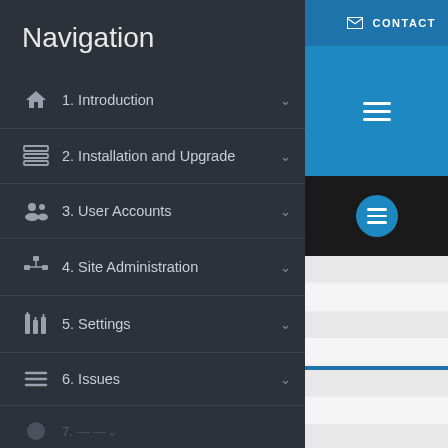Navigation
1. Introduction
2. Installation and Upgrade
3. User Accounts
4. Site Administration
5. Settings
6. Issues
[Figure (screenshot): Right panel showing CONTACT button, hamburger menu on blue background, hamburger menu on dark background, and alternating gray/white stripes]